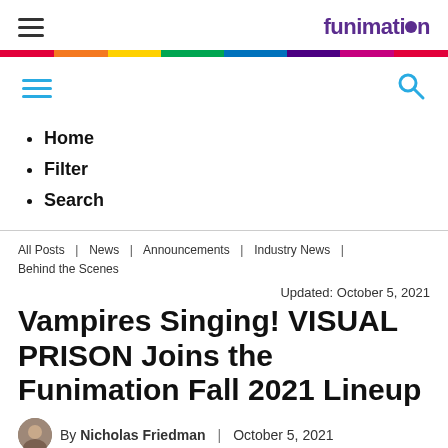Funimation
Home
Filter
Search
All Posts | News | Announcements | Industry News | Behind the Scenes
Updated: October 5, 2021
Vampires Singing! VISUAL PRISON Joins the Funimation Fall 2021 Lineup
By Nicholas Friedman | October 5, 2021